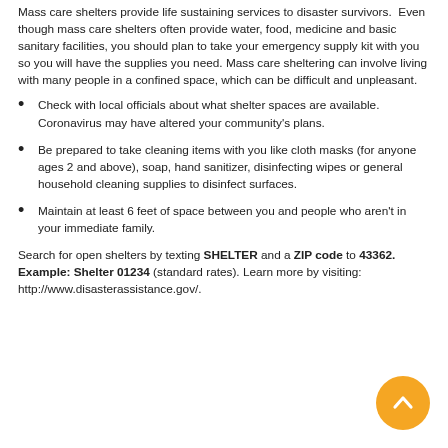Mass care shelters provide life sustaining services to disaster survivors. Even though mass care shelters often provide water, food, medicine and basic sanitary facilities, you should plan to take your emergency supply kit with you so you will have the supplies you need. Mass care sheltering can involve living with many people in a confined space, which can be difficult and unpleasant.
Check with local officials about what shelter spaces are available. Coronavirus may have altered your community's plans.
Be prepared to take cleaning items with you like cloth masks (for anyone ages 2 and above), soap, hand sanitizer, disinfecting wipes or general household cleaning supplies to disinfect surfaces.
Maintain at least 6 feet of space between you and people who aren't in your immediate family.
Search for open shelters by texting SHELTER and a ZIP code to 43362. Example: Shelter 01234 (standard rates). Learn more by visiting: http://www.disasterassistance.gov/.